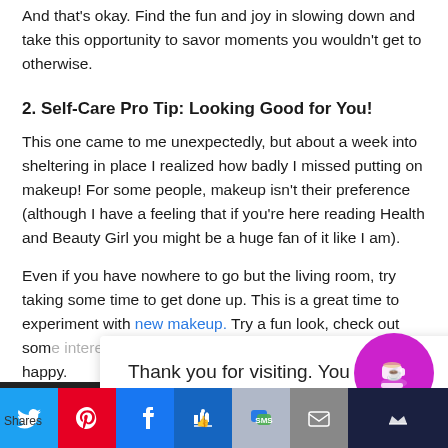And that's okay. Find the fun and joy in slowing down and take this opportunity to savor moments you wouldn't get to otherwise.
2. Self-Care Pro Tip: Looking Good for You!
This one came to me unexpectedly, but about a week into sheltering in place I realized how badly I missed putting on makeup! For some people, makeup isn't their preference (although I have a feeling that if you're here reading Health and Beauty Girl you might be a huge fan of it like I am).
Even if you have nowhere to go but the living room, try taking some time to get done up. This is a great time to experiment with new makeup. Try a fun look, check out som[e interesting looks and] do whatever makes you happy.
Thank you for visiting. You can now buy me a coffee!
This t[ext] … websi[te]
Shares